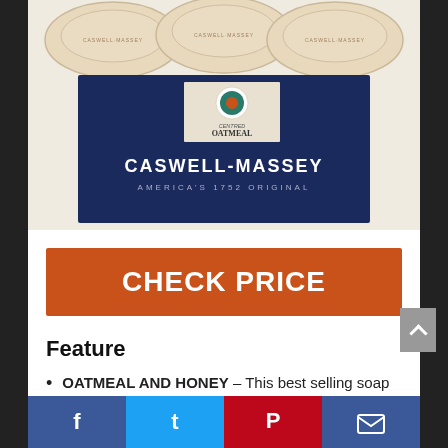[Figure (photo): Product photo of Caswell-Massey oatmeal soap bars and navy blue gift box. Top portion shows three oval cream-colored soap bars. Box is navy blue with a crest label reading 'Centred Oatmeal' and text 'CASWELL-MASSEY AMERICA'S 1752 ORIGINAL'.]
CHECK PRICE
Feature
OATMEAL AND HONEY – This best selling soap creates a rich lather